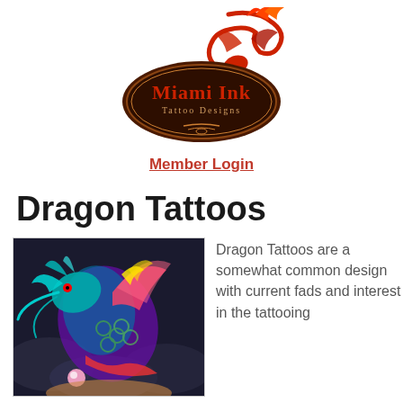[Figure (logo): Miami Ink Tattoo Designs logo with red dragon on top and ornate brown/dark red badge with script lettering]
Member Login
Dragon Tattoos
[Figure (photo): Colorful dragon tattoo on a person's back/shoulder, featuring a detailed multi-colored Japanese style dragon with blue, red, purple, yellow and green colors against a dark background]
Dragon Tattoos are a somewhat common design with current fads and interest in the tattooing